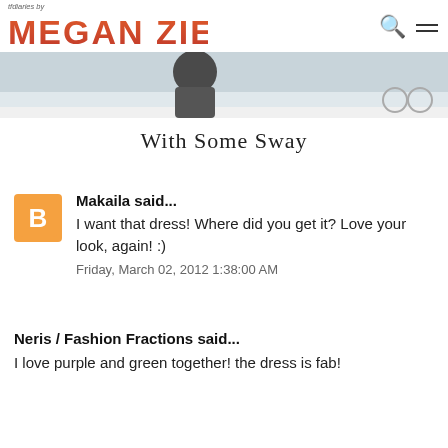tfdiaries by MEGAN ZIETZ
[Figure (photo): Partial hero image strip showing a person in white, cropped at top of frame]
With Some Sway
Makaila said...
I want that dress! Where did you get it? Love your look, again! :)
Friday, March 02, 2012 1:38:00 AM
Neris / Fashion Fractions said...
I love purple and green together! the dress is fab!